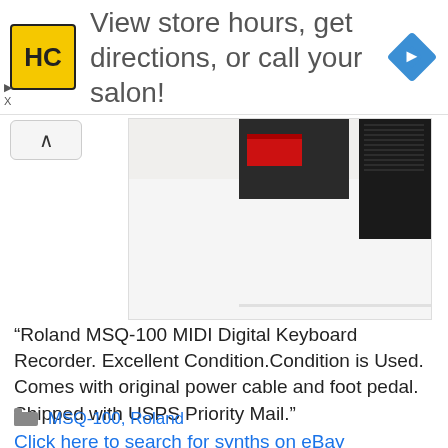[Figure (logo): Advertisement banner with HC salon logo (yellow square with HC text) and navigation diamond icon, text: View store hours, get directions, or call your salon!]
[Figure (photo): Partial photo of Roland MSQ-100 MIDI Digital Keyboard Recorder showing top of device with red label and black casing on white surface]
“Roland MSQ-100 MIDI Digital Keyboard Recorder. Excellent Condition.Condition is Used. Comes with original power cable and foot pedal. Shipped with USPS Priority Mail.”
Click here to search for synths on eBay
MSQ-100, Roland